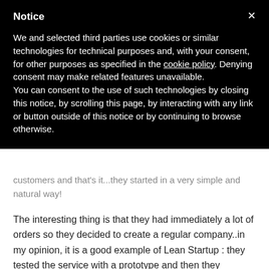Notice
We and selected third parties use cookies or similar technologies for technical purposes and, with your consent, for other purposes as specified in the cookie policy. Denying consent may make related features unavailable.
You can consent to the use of such technologies by closing this notice, by scrolling this page, by interacting with any link or button outside of this notice or by continuing to browse otherwise.
customers and that's it...they started in a very simple and natural way!
The interesting thing is that they had immediately a lot of orders so they decided to create a regular company..in my opinion, it is a good example of Lean Startup : they tested the service with a prototype and then they improved it after seeing that it was a good idea : well done guys!